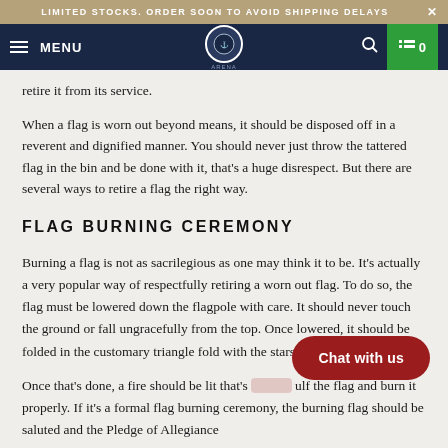LIMITED STOCKS. ORDER SOON TO AVOID SHIPPING DELAYS
MENU | 0
retire it from its service.
When a flag is worn out beyond means, it should be disposed off in a reverent and dignified manner. You should never just throw the tattered flag in the bin and be done with it, that's a huge disrespect. But there are several ways to retire a flag the right way.
FLAG BURNING CEREMONY
Burning a flag is not as sacrilegious as one may think it to be. It's actually a very popular way of respectfully retiring a worn out flag. To do so, the flag must be lowered down the flagpole with care. It should never touch the ground or fall ungracefully from the top. Once lowered, it should be folded in the customary triangle fold with the stars facing up.
Once that's done, a fire should be lit that's [obscured] ulf the flag and burn it properly. If it's a formal flag burning ceremony, the burning flag should be saluted and the Pledge of Allegiance